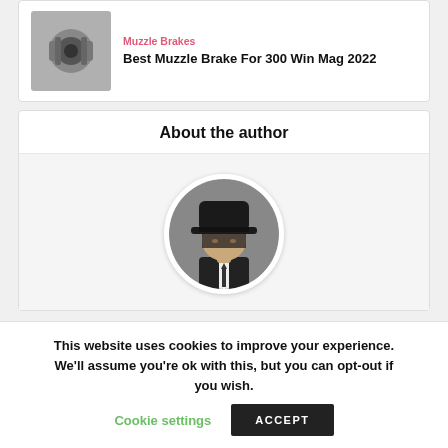[Figure (photo): Muzzle brake product photo - metallic cylindrical device]
Muzzle Brakes
Best Muzzle Brake For 300 Win Mag 2022
About the author
[Figure (photo): Circular avatar of a person wearing a black fedora hat and suit with tie, face obscured by hat brim]
This website uses cookies to improve your experience. We'll assume you're ok with this, but you can opt-out if you wish.
Cookie settings
ACCEPT